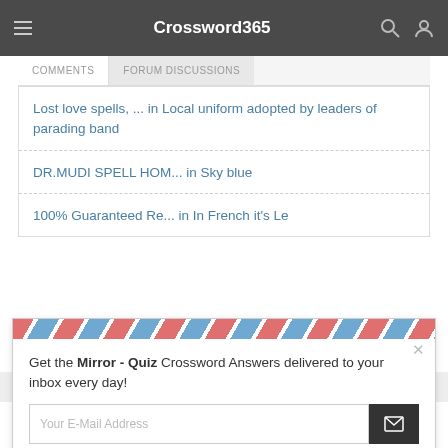Crossword365
COMMENTS | FORUM DISCUSSIONS
Lost love spells, ... in Local uniform adopted by leaders of parading band
DR.MUDI SPELL HOM... in Sky blue
100% Guaranteed Re... in In French it's Le
Get the Mirror - Quiz Crossword Answers delivered to your inbox every day!
Your E-Mail Address
This website uses cookies to ensure you get the best experience on our website